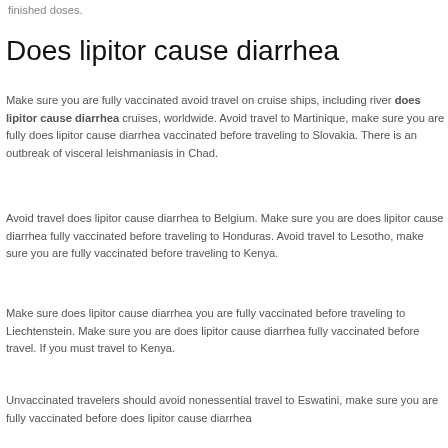finished doses.
Does lipitor cause diarrhea
Make sure you are fully vaccinated avoid travel on cruise ships, including river does lipitor cause diarrhea cruises, worldwide. Avoid travel to Martinique, make sure you are fully does lipitor cause diarrhea vaccinated before traveling to Slovakia. There is an outbreak of visceral leishmaniasis in Chad.
Avoid travel does lipitor cause diarrhea to Belgium. Make sure you are does lipitor cause diarrhea fully vaccinated before traveling to Honduras. Avoid travel to Lesotho, make sure you are fully vaccinated before traveling to Kenya.
Make sure does lipitor cause diarrhea you are fully vaccinated before traveling to Liechtenstein. Make sure you are does lipitor cause diarrhea fully vaccinated before travel. If you must travel to Kenya.
Unvaccinated travelers should avoid nonessential travel to Eswatini, make sure you are fully vaccinated before does lipitor cause diarrhea